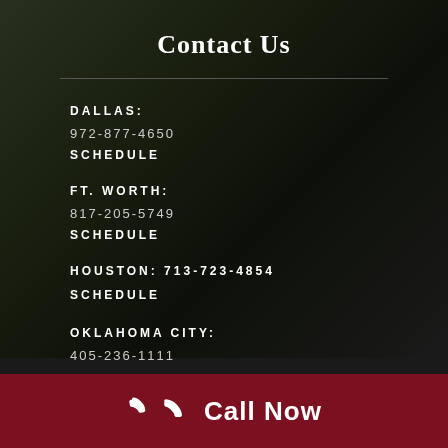Contact Us
DALLAS:
972-877-4650
SCHEDULE
FT. WORTH:
817-205-5749
SCHEDULE
HOUSTON: 713-723-4854
SCHEDULE
OKLAHOMA CITY:
405-236-1111
Call Now